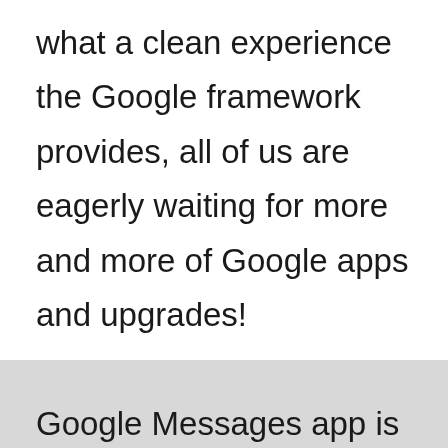what a clean experience the Google framework provides, all of us are eagerly waiting for more and more of Google apps and upgrades!

Google Messages app is the most advanced level of messaging app and as addressed very accurately by one of the tech analysts in the a...